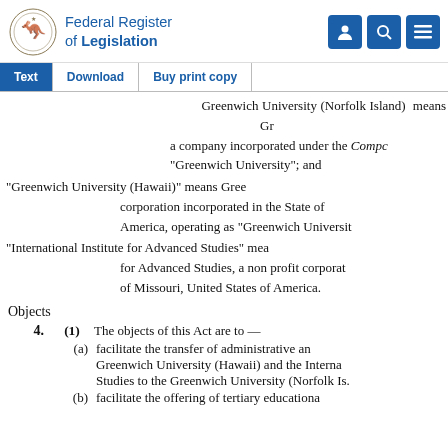Federal Register of Legislation
Greenwich University (Norfolk Island) means G... a company incorporated under the Compa... "Greenwich University"; and
"Greenwich University (Hawaii)" means Gree... corporation incorporated in the State of America, operating as "Greenwich Universit...
"International Institute for Advanced Studies" mea... for Advanced Studies, a non profit corporat... of Missouri, United States of America.
Objects
4.   (1)   The objects of this Act are to —
(a)   facilitate the transfer of administrative an... Greenwich University (Hawaii) and the Interna... Studies to the Greenwich University (Norfolk Is...
(b)   facilitate the offering of tertiary educationa...